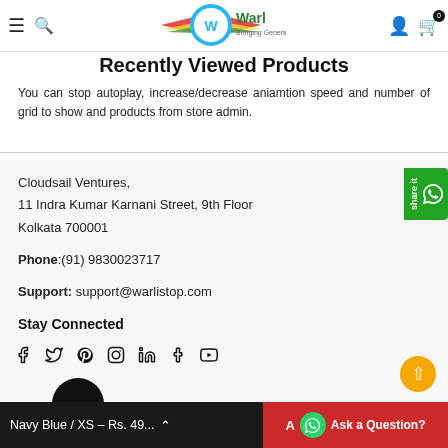Warl – Bringing Genera – Recently Viewed Products
Recently Viewed Products
You can stop autoplay, increase/decrease aniamtion speed and number of grid to show and products from store admin.
Cloudsail Ventures,
11 Indra Kumar Karnani Street, 9th Floor
Kolkata 700001
Phone:(91) 9830023717
Support: support@warlistop.com
Stay Connected
Social icons: Facebook, Twitter, Pinterest, Instagram, LinkedIn, Tumblr, YouTube
INFORMATION
Navy Blue / XS – Rs. 49... A Ask a Question?